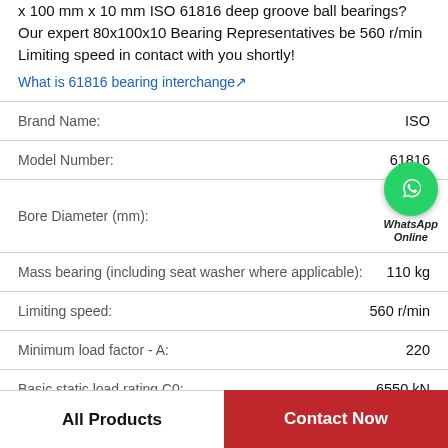x 100 mm x 10 mm ISO 61816 deep groove ball bearings? Our expert 80x100x10 Bearing Representatives be 560 r/min Limiting speed in contact with you shortly!
What is 61816 bearing interchange↗
| Property | Value |
| --- | --- |
| Brand Name: | ISO |
| Model Number: | 61816 |
| Bore Diameter (mm): |  |
| Mass bearing (including seat washer where applicable): | 110 kg |
| Limiting speed: | 560 r/min |
| Minimum load factor - A: | 220 |
| Basic static load rating C0: | 6550 kN |
All Products
Contact Now